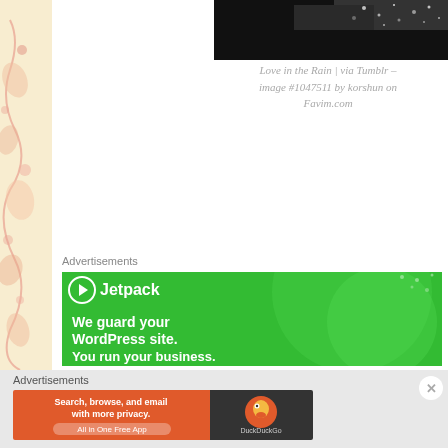[Figure (photo): Black and white photo of people in rain, top right area]
Love in the Rain | via Tumblr – image #1047511 by korshun on Favim.com
Advertisements
[Figure (screenshot): Jetpack advertisement: green background with Jetpack logo, text 'We guard your WordPress site. You run your business. Secure Your Site']
Advertisements
[Figure (screenshot): DuckDuckGo advertisement: Search, browse, and email with more privacy. All in One Free App]